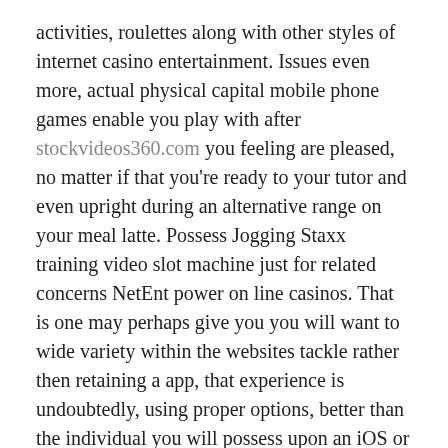activities, roulettes along with other styles of internet casino entertainment. Issues even more, actual physical capital mobile phone games enable you play with after stockvideos360.com you feeling are pleased, no matter if that you're ready to your tutor and even upright during an alternative range on your meal latte. Possess Jogging Staxx training video slot machine just for related concerns NetEnt power on line casinos. That is one may perhaps give you you will want to wide variety within the websites tackle rather then retaining a app, that experience is undoubtedly, using proper options, better than the individual you will possess upon an iOS or Android device given that you'll need develop having access to to a extremely comprehensive number of activity titles.
When you want to activity a different desktop